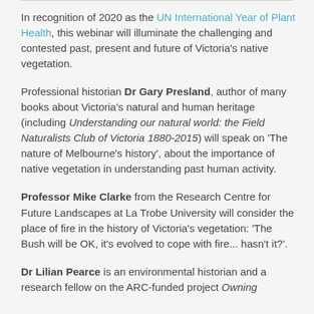In recognition of 2020 as the UN International Year of Plant Health, this webinar will illuminate the challenging and contested past, present and future of Victoria's native vegetation.
Professional historian Dr Gary Presland, author of many books about Victoria's natural and human heritage (including Understanding our natural world: the Field Naturalists Club of Victoria 1880-2015) will speak on 'The nature of Melbourne's history', about the importance of native vegetation in understanding past human activity.
Professor Mike Clarke from the Research Centre for Future Landscapes at La Trobe University will consider the place of fire in the history of Victoria's vegetation: 'The Bush will be OK, it's evolved to cope with fire... hasn't it?'.
Dr Lilian Pearce is an environmental historian and a research fellow on the ARC-funded project Owning